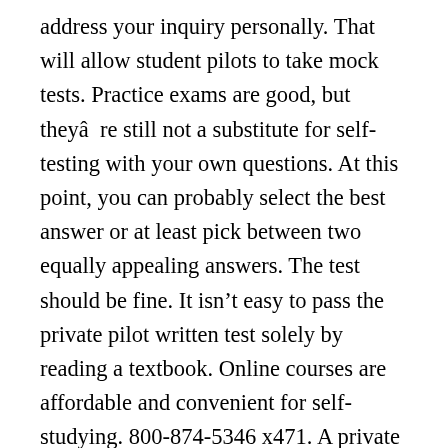address your inquiry personally. That will allow student pilots to take mock tests. Practice exams are good, but they're still not a substitute for self-testing with your own questions. At this point, you can probably select the best answer or at least pick between two equally appealing answers. The test should be fine. It isn't easy to pass the private pilot written test solely by reading a textbook. Online courses are affordable and convenient for self-studying. 800-874-5346 x471. A private pilot applicant needs to be at least 17 years old, able to read, speak and understand English, successfully complete the flight training requirements and the knowledge exam. Download Private Pilot Study Flashcards and